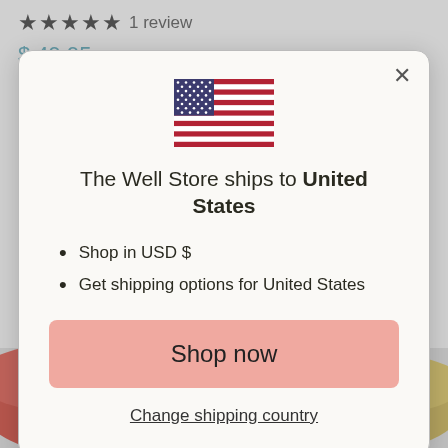★★★★★ 1 review
$ 49.95
[Figure (illustration): US flag icon centered in modal]
The Well Store ships to United States
Shop in USD $
Get shipping options for United States
Shop now
Change shipping country
[Figure (photo): Product tins at bottom of page: red tin on left, yellow/gold tin on right]